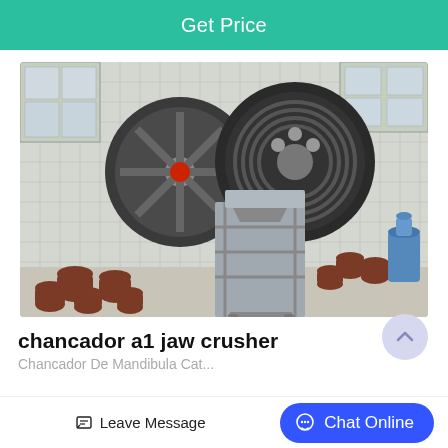Get Price
[Figure (photo): A jaw crusher machine with two large black flywheels and a grey metal frame body, placed outdoors against a white tile wall. Several brown cylindrical objects are arranged on the ground around the machine. A blue water jug is visible in the background.]
chancador a1 jaw crusher
Chancador De Mandibula Cat...
Leave Message   Chat Online